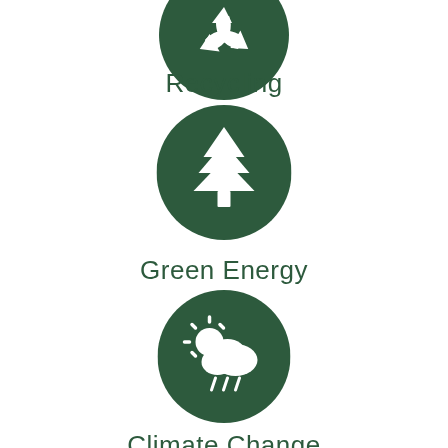[Figure (illustration): Dark green circle with white recycling/leaf icon, partially cropped at top]
Recycling
[Figure (illustration): Dark green circle with white pine tree icon]
Green Energy
[Figure (illustration): Dark green circle with white sun and rain cloud icon (climate/weather icon)]
Climate Change
[Figure (illustration): Dark green circle partially cropped at bottom]